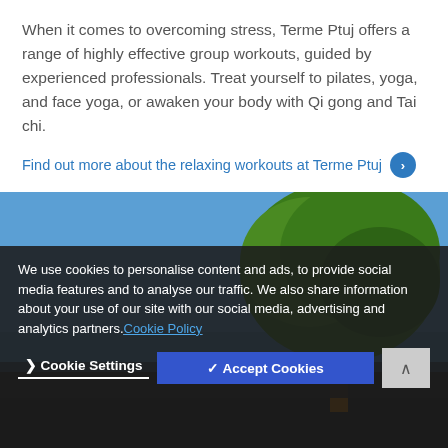When it comes to overcoming stress, Terme Ptuj offers a range of highly effective group workouts, guided by experienced professionals. Treat yourself to pilates, yoga, and face yoga, or awaken your body with Qi gong and Tai chi.
Find out more about the relaxing workouts at Terme Ptuj ›
[Figure (photo): Outdoor photo showing a large green tree against a blue sky, with people visible in the lower portion of the image.]
We use cookies to personalise content and ads, to provide social media features and to analyse our traffic. We also share information about your use of our site with our social media, advertising and analytics partners. Cookie Policy